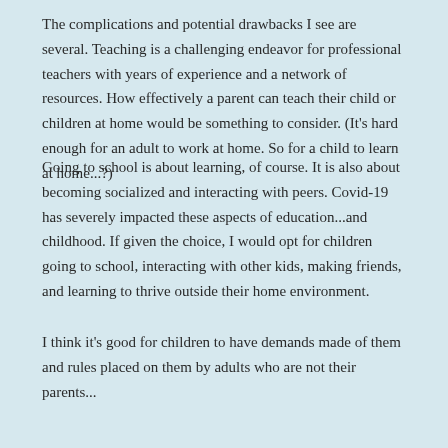The complications and potential drawbacks I see are several. Teaching is a challenging endeavor for professional teachers with years of experience and a network of resources. How effectively a parent can teach their child or children at home would be something to consider. (It's hard enough for an adult to work at home. So for a child to learn at home...?)
Going to school is about learning, of course. It is also about becoming socialized and interacting with peers. Covid-19 has severely impacted these aspects of education...and childhood. If given the choice, I would opt for children going to school, interacting with other kids, making friends, and learning to thrive outside their home environment.
I think it's good for children to have demands made of them and rules placed on them by adults who are not their parents...